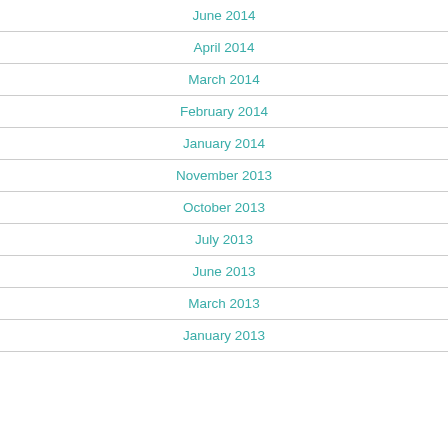June 2014
April 2014
March 2014
February 2014
January 2014
November 2013
October 2013
July 2013
June 2013
March 2013
January 2013